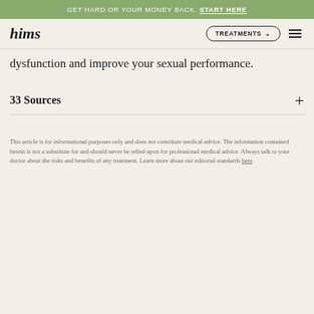GET HARD OR YOUR MONEY BACK. START HERE
hims  TREATMENTS
dysfunction and improve your sexual performance.
33 Sources
This article is for informational purposes only and does not constitute medical advice. The information contained herein is not a substitute for and should never be relied upon for professional medical advice. Always talk to your doctor about the risks and benefits of any treatment. Learn more about our editorial standards here.